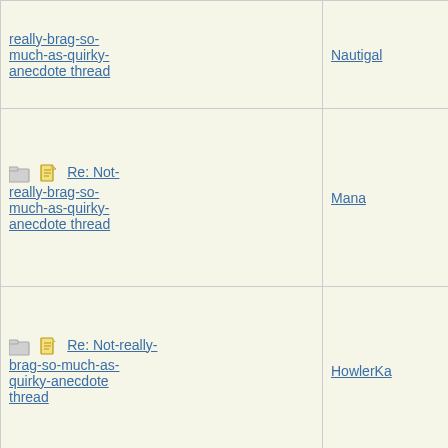| Subject | Author |
| --- | --- |
| really-brag-so-much-as-quirky-anecdote thread | Nautigal |
| Re: Not-really-brag-so-much-as-quirky-anecdote thread | Mana |
| Re: Not-really-brag-so-much-as-quirky-anecdote thread | HowlerKa |
| Re: Not-really-brag-so-much-as-quirky-anecdote thread | doubtfulg |
| Re: Not-really-brag-so-much-as-quirky-anecdote thread | Cassmo4 |
| Re: Not-really-brag-so-much-as-quirky-anecdote thread | Mana |
| Re: Not-really-brag-so-much-as-quirky-anecdote thread | aquinas |